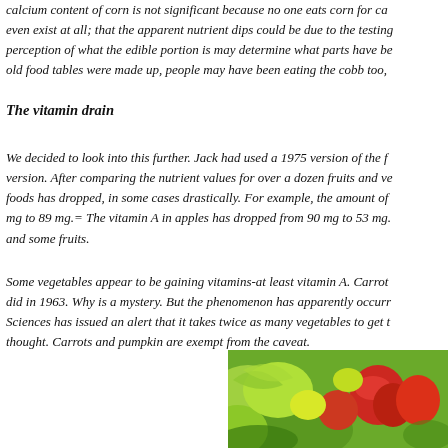calcium content of corn is not significant because no one eats corn for ca even exist at all; that the apparent nutrient dips could be due to the testing perception of what the edible portion is may determine what parts have be old food tables were made up, people may have been eating the cobb too,
The vitamin drain
We decided to look into this further. Jack had used a 1975 version of the f version. After comparing the nutrient values for over a dozen fruits and ve foods has dropped, in some cases drastically. For example, the amount of mg to 89 mg.= The vitamin A in apples has dropped from 90 mg to 53 mg. and some fruits.
Some vegetables appear to be gaining vitamins-at least vitamin A. Carrot did in 1963. Why is a mystery. But the phenomenon has apparently occurr Sciences has issued an alert that it takes twice as many vegetables to get t thought. Carrots and pumpkin are exempt from the caveat.
[Figure (photo): A colorful photo of fresh vegetables and fruits including green leafy vegetables, red peppers/tomatoes, and other colorful produce.]